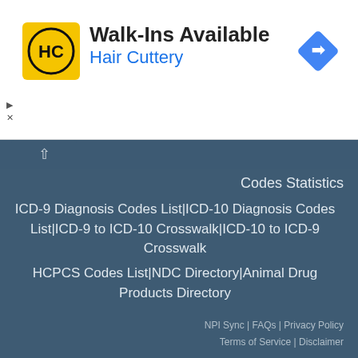[Figure (logo): Hair Cuttery advertisement banner with yellow HC logo, title 'Walk-Ins Available', subtitle 'Hair Cuttery', and a blue navigation arrow icon]
Codes Statistics
ICD-9 Diagnosis Codes List|ICD-10 Diagnosis Codes List|ICD-9 to ICD-10 Crosswalk|ICD-10 to ICD-9 Crosswalk
HCPCS Codes List|NDC Directory|Animal Drug Products Directory
NPI Sync | FAQs | Privacy Policy Terms of Service | Disclaimer